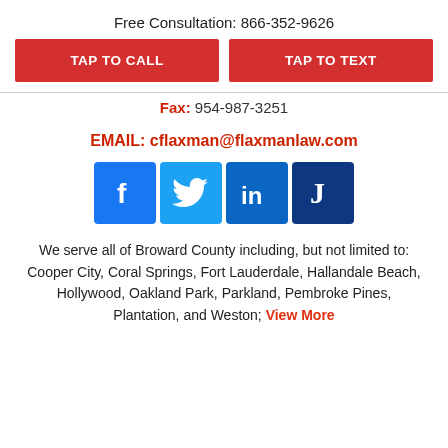Free Consultation: 866-352-9626
TAP TO CALL
TAP TO TEXT
Fax: 954-987-3251
EMAIL: cflaxman@flaxmanlaw.com
[Figure (other): Social media icons: Facebook, Twitter, LinkedIn, Justia]
We serve all of Broward County including, but not limited to: Cooper City, Coral Springs, Fort Lauderdale, Hallandale Beach, Hollywood, Oakland Park, Parkland, Pembroke Pines, Plantation, and Weston; View More